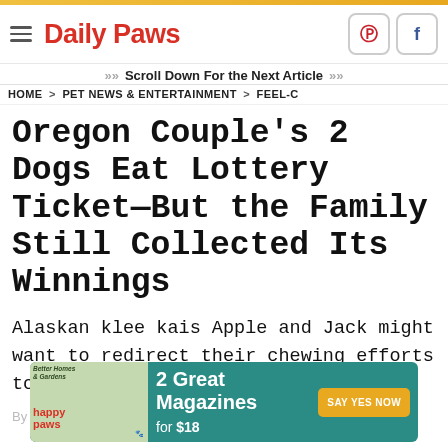Daily Paws
Scroll Down For the Next Article
HOME > PET NEWS & ENTERTAINMENT > FEEL-G
Oregon Couple's 2 Dogs Eat Lottery Ticket—But the Family Still Collected Its Winnings
Alaskan klee kais Apple and Jack might want to redirect their chewing efforts to their new toys.
[Figure (screenshot): Advertisement banner for Better Homes & Gardens and Happy Paws magazines: '2 Great Magazines for $18 – SAY YES NOW']